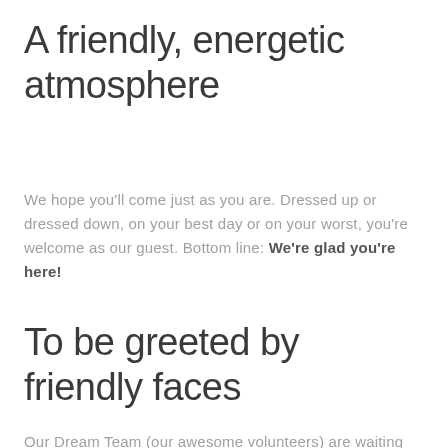A friendly, energetic atmosphere
We hope you'll come just as you are. Dressed up or dressed down, on your best day or on your worst, you're welcome as our guest. Bottom line: We're glad you're here!
To be greeted by friendly faces
Our Dream Team (our awesome volunteers) are waiting